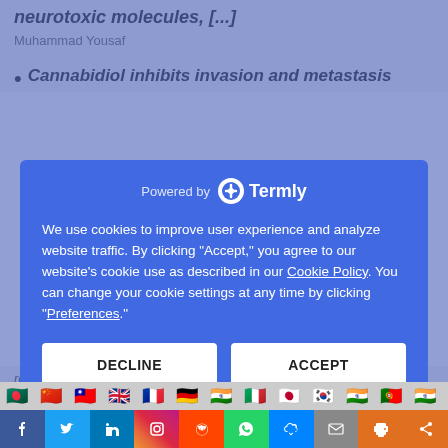neurotoxic molecules, [...]
Muhammad Yousaf
Cannabidiol inhibits invasion and metastasis
Powered by Termly
We use cookies to improve user experience and analyze website traffic. By clicking “Accept,” you agree to our website’s cookie use as described in our Cookie Policy. You can change your cookie settings at any time by clicking “Preferences.”
DECLINE
ACCEPT
PREFERENCES
role of CBD in the migration and metasta...